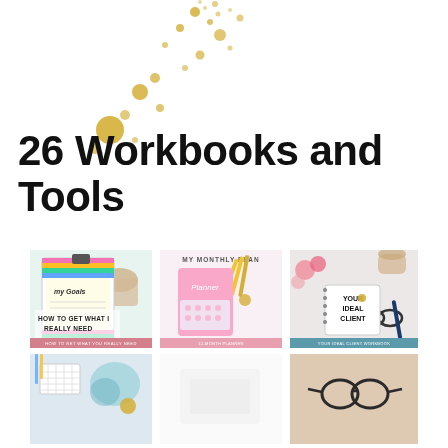26 Workbooks and Tools
[Figure (photo): Photo of a colorful clipboard with 'My Goals' notepad on it, coffee cup in background. Text overlay: 'HOW TO GET WHAT I REALLY NEED'. Pink strip at bottom with small text.]
[Figure (photo): Photo of a pink planner labeled 'MY MONTHLY PLAN' and 'Planner' surrounded by colorful stationery, pencils, and gold accents. Pink strip at bottom.]
[Figure (photo): Photo of a spiral notebook reading 'YOUR IDEAL CLIENT' on marble surface with pink roses, glasses, pen, and gold seal. Blue/teal strip at bottom.]
[Figure (photo): Partial photo at bottom-left: desk/office scene with grid/calendar visible.]
[Figure (photo): Partial photo at bottom-center: light-colored flat lay, mostly white.]
[Figure (photo): Partial photo at bottom-right: glasses on warm-toned surface.]